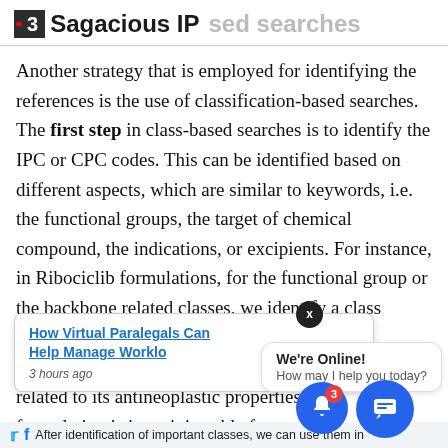Sagacious IP — classification-based searches
Another strategy that is employed for identifying the references is the use of classification-based searches. The first step in class-based searches is to identify the IPC or CPC codes. This can be identified based on different aspects, which are similar to keywords, i.e. the functional groups, the target of chemical compound, the indications, or excipients. For instance, in Ribociclib formulations, for the functional group or the backbone related classes, we identify a class which considers the heterocyclic ring. Since Ribociclib is an anti-cancer agent, we identify classes related to its antineoplastic properties. This formulation is in an injectable form, therefore [excipients are] also included.
After identification of important classes, we can use them in